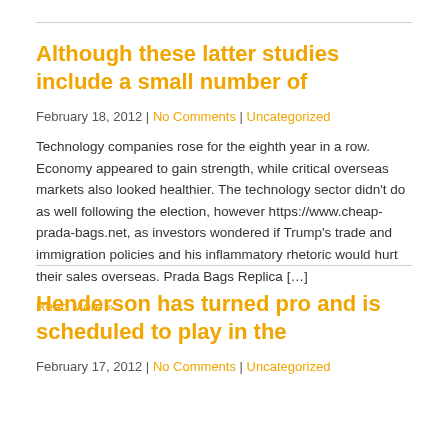Although these latter studies include a small number of
February 18, 2012 | No Comments | Uncategorized
Technology companies rose for the eighth year in a row. Economy appeared to gain strength, while critical overseas markets also looked healthier. The technology sector didn't do as well following the election, however https://www.cheap-prada-bags.net, as investors wondered if Trump's trade and immigration policies and his inflammatory rhetoric would hurt their sales overseas. Prada Bags Replica […]
Read More »
Henderson has turned pro and is scheduled to play in the
February 17, 2012 | No Comments | Uncategorized